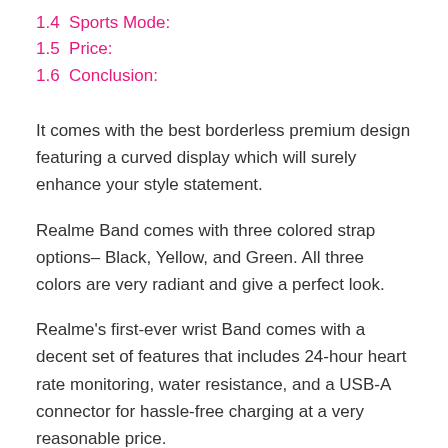1.4  Sports Mode:
1.5  Price:
1.6  Conclusion:
It comes with the best borderless premium design featuring a curved display which will surely enhance your style statement.
Realme Band comes with three colored strap options– Black, Yellow, and Green. All three colors are very radiant and give a perfect look.
Realme's first-ever wrist Band comes with a decent set of features that includes 24-hour heart rate monitoring, water resistance, and a USB-A connector for hassle-free charging at a very reasonable price.